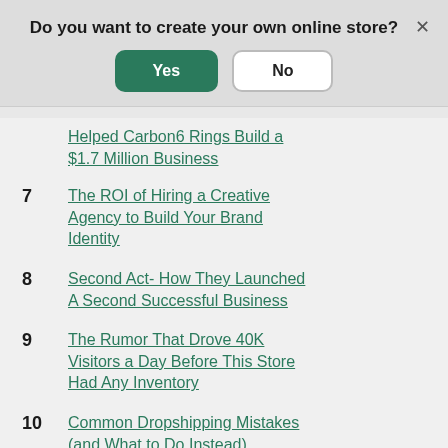Do you want to create your own online store?
Helped Carbon6 Rings Build a $1.7 Million Business
7  The ROI of Hiring a Creative Agency to Build Your Brand Identity
8  Second Act- How They Launched A Second Successful Business
9  The Rumor That Drove 40K Visitors a Day Before This Store Had Any Inventory
10  Common Dropshipping Mistakes (and What to Do Instead)